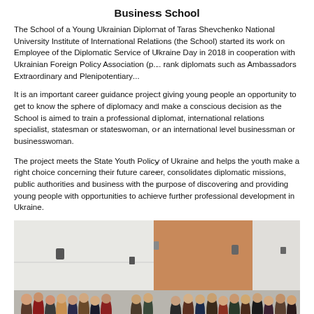Business School
The School of a Young Ukrainian Diplomat of Taras Shevchenko National University Institute of International Relations (the School) started its work on Employee of the Diplomatic Service of Ukraine Day in 2018 in cooperation with Ukrainian Foreign Policy Association (p... rank diplomats such as Ambassadors Extraordinary and Plenipotentiary...
It is an important career guidance project giving young people an opportunity to get to know the sphere of diplomacy and make a conscious decision as the School is aimed to train a professional diplomat, international relations specialist, statesman or stateswoman, or an international level businessman or businesswoman.
The project meets the State Youth Policy of Ukraine and helps the youth make a right choice concerning their future career, consolidates diplomatic missions, public authorities and business with the purpose of discovering and providing young people with opportunities to achieve further professional development in Ukraine.
[Figure (photo): Group photo of people gathered in a large hall or auditorium with white walls and orange/tan wall section. A large group including formally dressed individuals stands in rows for a group photograph.]